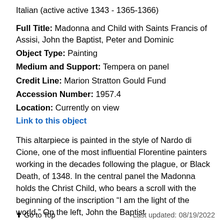Italian (active active 1343 - 1365-1366)
Full Title: Madonna and Child with Saints Francis of Assisi, John the Baptist, Peter and Dominic
Object Type: Painting
Medium and Support: Tempera on panel
Credit Line: Marion Stratton Gould Fund
Accession Number: 1957.4
Location: Currently on view
Link to this object
This altarpiece is painted in the style of Nardo di Cione, one of the most influential Florentine painters working in the decades following the plague, or Black Death, of 1348. In the central panel the Madonna holds the Christ Child, who bears a scroll with the beginning of the inscription “I am the light of the world.” On the left, John the Baptist
⬆ Go to Top    Last updated: 08/19/2022